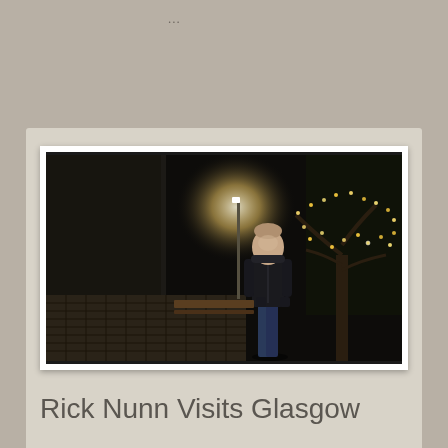...
[Figure (photo): Night-time photo of a young man standing on a cobblestone street in Glasgow, wearing a dark hoodie, with a bright street lamp and illuminated trees with fairy lights in the background, and a stone building to the left.]
Rick Nunn Visits Glasgow
December 5, 2011   5 Comments
…And there was a horrendous downpour of torrential rain. Typical! A friend who enjoys